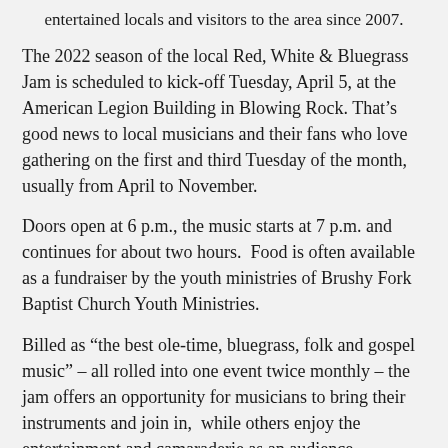entertained locals and visitors to the area since 2007.
The 2022 season of the local Red, White & Bluegrass Jam is scheduled to kick-off Tuesday, April 5, at the American Legion Building in Blowing Rock. That's good news to local musicians and their fans who love gathering on the first and third Tuesday of the month, usually from April to November.
Doors open at 6 p.m., the music starts at 7 p.m. and continues for about two hours.  Food is often available as a fundraiser by the youth ministries of Brushy Fork Baptist Church Youth Ministries.
Billed as “the best ole-time, bluegrass, folk and gospel music” – all rolled into one event twice monthly – the jam offers an opportunity for musicians to bring their instruments and join in,  while others enjoy the entertainment and camaraderie as an audience.